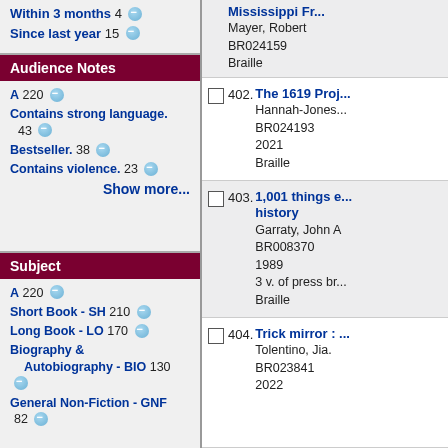Within 3 months 4
Since last year 15
Audience Notes
A 220
Contains strong language. 43
Bestseller. 38
Contains violence. 23
Show more...
Subject
A 220
Short Book - SH 210
Long Book - LO 170
Biography & Autobiography - BIO 130
General Non-Fiction - GNF 82
Mississippi Fr...
Mayer, Robert
BR024159
Braille
402. The 1619 Proj...
Hannah-Jones...
BR024193
2021
Braille
403. 1,001 things e... history
Garraty, John A
BR008370
1989
3 v. of press br...
Braille
404. Trick mirror : ...
Tolentino, Jia.
BR023841
2022